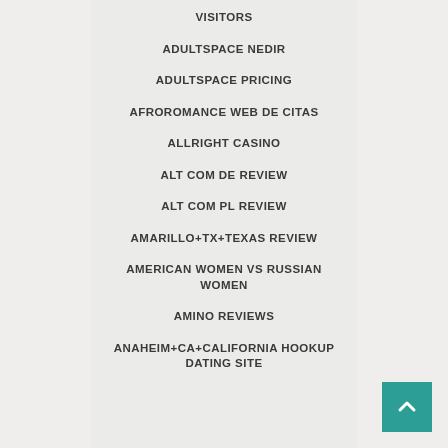VISITORS
ADULTSPACE NEDIR
ADULTSPACE PRICING
AFROROMANCE WEB DE CITAS
ALLRIGHT CASINO
ALT COM DE REVIEW
ALT COM PL REVIEW
AMARILLO+TX+TEXAS REVIEW
AMERICAN WOMEN VS RUSSIAN WOMEN
AMINO REVIEWS
ANAHEIM+CA+CALIFORNIA HOOKUP DATING SITE